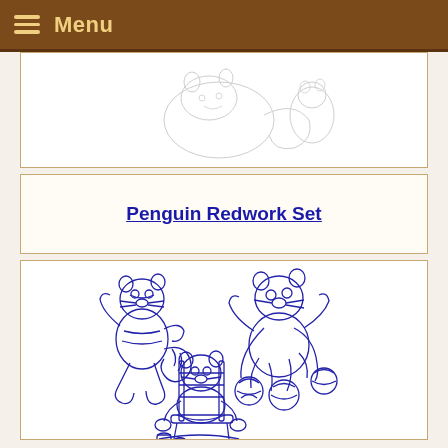≡ Menu
[Figure (illustration): Partial view of embroidery sketch design — appears to show an animal figure in pencil/outline style, cropped at top]
Penguin Redwork Set
[Figure (illustration): Blue line embroidery redwork designs showing three raccoon characters: top-left raccoon dancing/playing, top-right raccoon tangled in yarn balls, bottom-center raccoon sitting in rocking chair knitting/sewing]